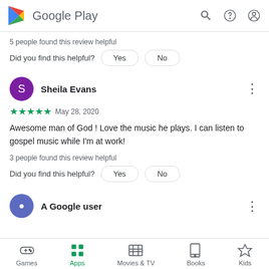Google Play
5 people found this review helpful
Did you find this helpful?  Yes  No
Sheila Evans
★★★★★  May 28, 2020
Awesome man of God ! Love the music he plays. I can listen to gospel music while I'm at work!
3 people found this review helpful
Did you find this helpful?  Yes  No
A Google user
Games  Apps  Movies & TV  Books  Kids